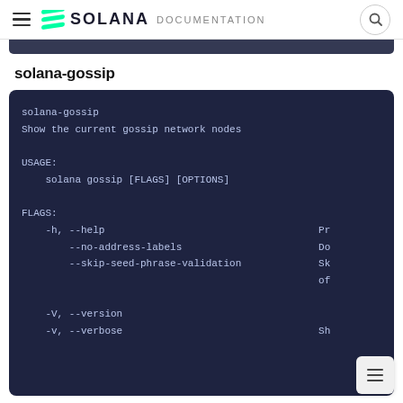SOLANA DOCUMENTATION
solana-gossip
[Figure (screenshot): Dark code block showing solana-gossip CLI help output. Shows command description 'Show the current gossip network nodes', USAGE: solana gossip [FLAGS] [OPTIONS], FLAGS: -h --help, --no-address-labels, --skip-seed-phrase-validation, -V --version, -v --verbose]